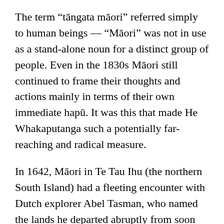The term “tāngata māori” referred simply to human beings — “Māori” was not in use as a stand-alone noun for a distinct group of people. Even in the 1830s Māori still continued to frame their thoughts and actions mainly in terms of their own immediate hapū. It was this that made He Whakaputanga such a potentially far-reaching and radical measure.
In 1642, Māori in Te Tau Ihu (the northern South Island) had a fleeting encounter with Dutch explorer Abel Tasman, who named the lands he departed abruptly from soon after arriving — when matters turned violent — Staten Landt.
Later, a cartographer back in the Netherlands